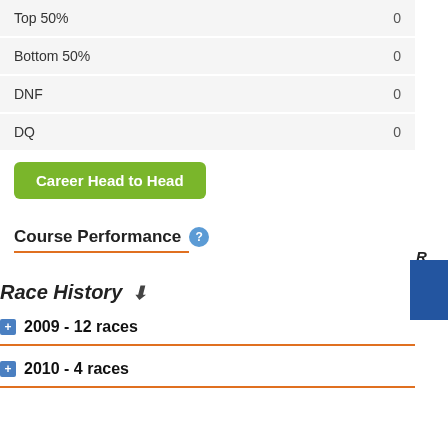| Category | Value |
| --- | --- |
| Top 50% | 0 |
| Bottom 50% | 0 |
| DNF | 0 |
| DQ | 0 |
Career Head to Head
Course Performance
Race History
2009 - 12 races
2010 - 4 races